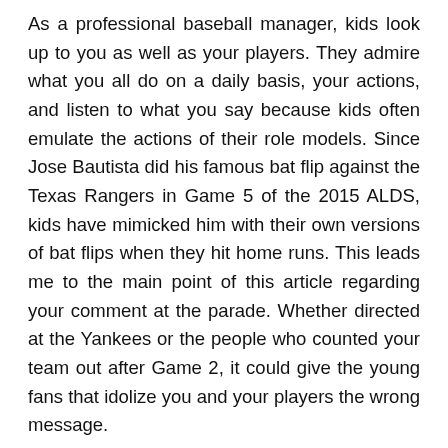As a professional baseball manager, kids look up to you as well as your players. They admire what you all do on a daily basis, your actions, and listen to what you say because kids often emulate the actions of their role models. Since Jose Bautista did his famous bat flip against the Texas Rangers in Game 5 of the 2015 ALDS, kids have mimicked him with their own versions of bat flips when they hit home runs. This leads me to the main point of this article regarding your comment at the parade. Whether directed at the Yankees or the people who counted your team out after Game 2, it could give the young fans that idolize you and your players the wrong message.
•
The message it could potentially send to the